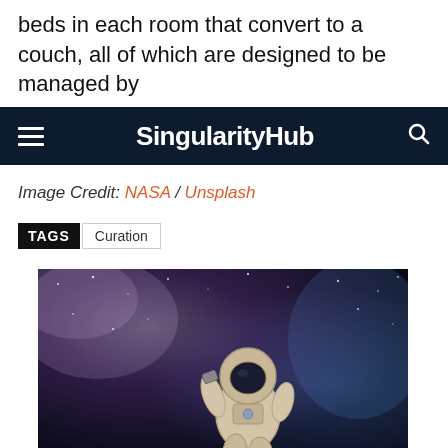beds in each room that convert to a couch, all of which are designed to be managed by
SingularityHub
Image Credit: NASA / Unsplash
TAGS   Curation
[Figure (photo): Astronaut floating in space with a starry nebula background]